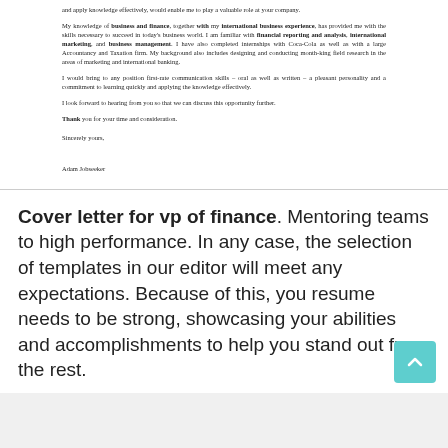and apply knowledge effectively, would enable me to play a valuable role at your company.
My knowledge of business and finance, together with my international business experience, has provided me with the skills necessary to succeed in today's business world. I am familiar with financial reporting and analysis, international marketing, and business management. I have also completed internships with Coca-Cola as well as with a large Accountancy and Taxation firm. My background also includes designing and conducting month-king field research in the areas of marketing and international banking.
I would bring to any position first-rate communication skills – oral as well as written – a pleasant personality and a commitment to learning quickly and applying the knowledge effectively.
I look forward to hearing from you so that we can discuss this opportunity further.
Thank you for your time and consideration.
Sincerely yours,
Adam Jobseeker
Cover letter for vp of finance. Mentoring teams to high performance. In any case, the selection of templates in our editor will meet any expectations. Because of this, you resume needs to be strong, showcasing your abilities and accomplishments to help you stand out from the rest.